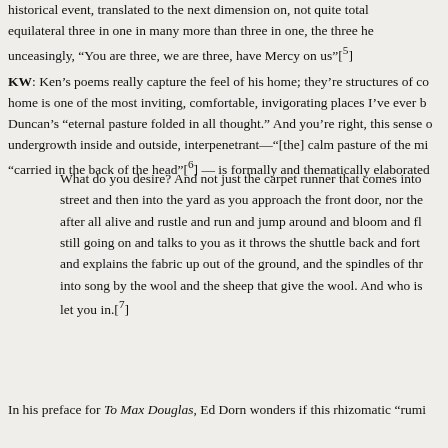historical event, translated to the next dimension on, not quite total equilateral three in one in many more than three in one, the three he unceasingly, "You are three, we are three, have Mercy on us"[5]
KW: Ken's poems really capture the feel of his home; they're structures of co home is one of the most inviting, comfortable, invigorating places I've ever b Duncan's "eternal pasture folded in all thought." And you're right, this sense o undergrowth inside and outside, interpenetrant—"[the] calm pasture of the mi "carried in the back of the head"[6] — is formally and thematically elaborated
What do you desire? And not just the carpet runner that comes into street and then into the yard as you approach the front door, nor the after all alive and rustle and run and jump around and bloom and fl still going on and talks to you as it throws the shuttle back and fort and explains the fabric up out of the ground, and the spindles of thr into song by the wool and the sheep that give the wool. And who is let you in.[7]
In his preface for To Max Douglas, Ed Dorn wonders if this rhizomatic "rumi